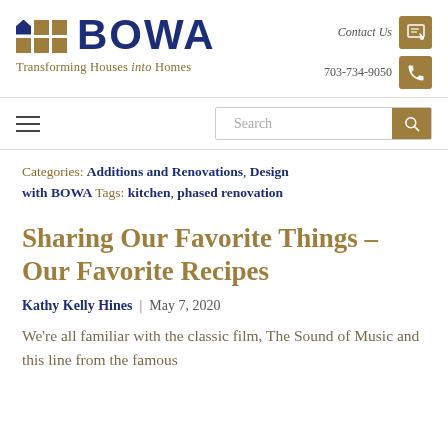BOWA — Transforming Houses into Homes | Contact Us | 703-734-9050
Categories: Additions and Renovations, Design with BOWA Tags: kitchen, phased renovation
Sharing Our Favorite Things – Our Favorite Recipes
Kathy Kelly Hines | May 7, 2020
We're all familiar with the classic film, The Sound of Music and this line from the famous